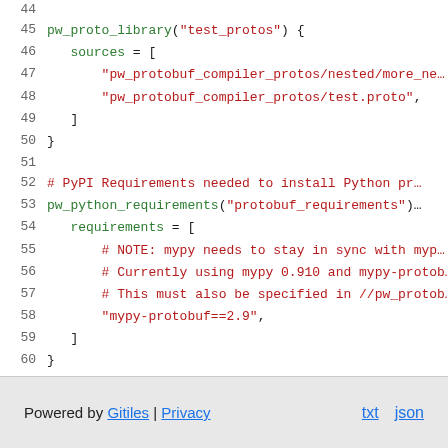[Figure (screenshot): Code viewer showing lines 44-60 of a BUILD file with pw_proto_library and pw_python_requirements starlark functions, syntax highlighted in green for identifiers and red for strings/comments]
Powered by Gitiles | Privacy   txt   json